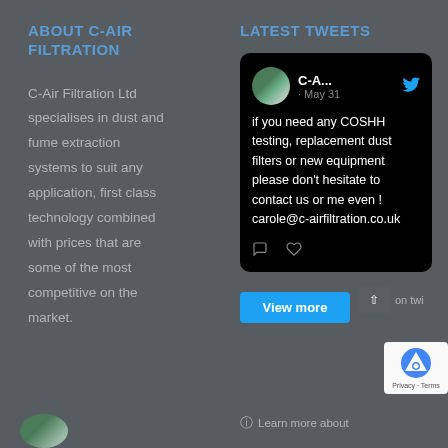ABOUT C-AIR FILTRATION
C-Air Filtration Ltd specialises in dust and fume extraction systems to suit any application, first class technology combined with prices that are some of the most competitive on the market.
LATEST TWEETS
[Figure (screenshot): Tweet from C-Air Filtration dated May 31, saying: 'if you need any COSHH testing, replacement dust filters or new equipment please don't hesitate to contact us or me even ! carole@c-airfiltration.co.uk'. Shows Twitter bird icon, reply and like icons at bottom.]
View more
Learn more about